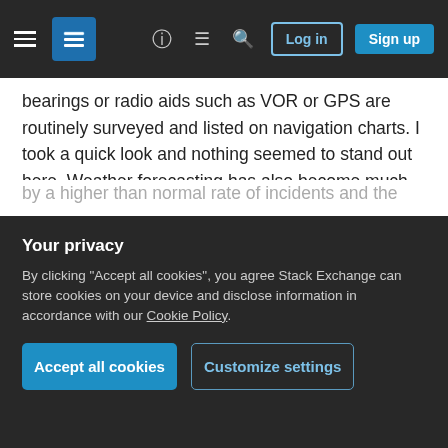Stack Exchange navigation bar with hamburger menu, logo, help, chat, search icons, Log in and Sign up buttons
bearings or radio aids such as VOR or GPS are routinely surveyed and listed on navigation charts. I took a quick look and nothing seemed to stand out here. Weather forecasting has also become much more helpful with the usage of long range weather radar and weather satellites.
A look at incidents in this area shows most incidents were in the 1960s or earlier. The few recent air incidents seem to be nothing out of the ordinary. General aviation accidents are fairly common (flying
Your privacy
By clicking "Accept all cookies", you agree Stack Exchange can store cookies on your device and disclose information in accordance with our Cookie Policy.
Accept all cookies   Customize settings
by a higher than normal rate of incidents and the